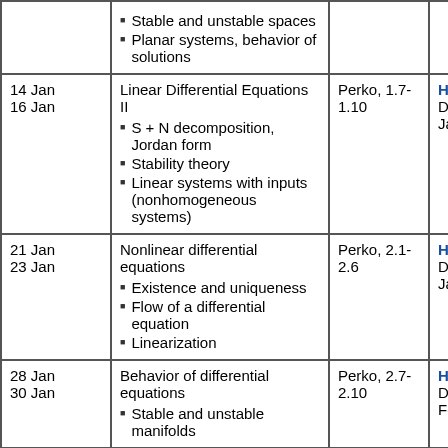| Date | Topic | Reading | HW |
| --- | --- | --- | --- |
|  | Stable and unstable spaces
Planar systems, behavior of solutions |  |  |
| 14 Jan
16 Jan | Linear Differential Equations II
S + N decomposition, Jordan form
Stability theory
Linear systems with inputs (nonhomogeneous systems) | Perko, 1.7-1.10 | HW 2
Due: 22 Jan (Wed) |
| 21 Jan
23 Jan | Nonlinear differential equations
Existence and uniqueness
Flow of a differential equation
Linearization | Perko, 2.1-2.6 | HW 3
Due: 29 Jan (Wed) |
| 28 Jan
30 Jan | Behavior of differential equations
Stable and unstable manifolds | Perko, 2.7-2.10 | HW 4
Due: 5 Feb (Wed) |